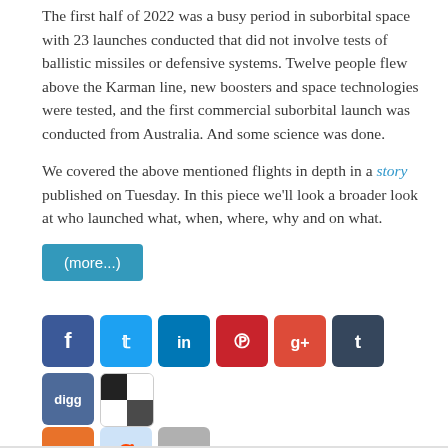The first half of 2022 was a busy period in suborbital space with 23 launches conducted that did not involve tests of ballistic missiles or defensive systems. Twelve people flew above the Karman line, new boosters and space technologies were tested, and the first commercial suborbital launch was conducted from Australia. And some science was done.
We covered the above mentioned flights in depth in a story published on Tuesday. In this piece we'll look a broader look at who launched what, when, where, why and on what.
(more...)
[Figure (infographic): Row of social media sharing icon buttons: Facebook, Twitter, LinkedIn, Pinterest, Google+, Tumblr, Digg, Shareaholic, then second row: StumbleUpon, Reddit, Email]